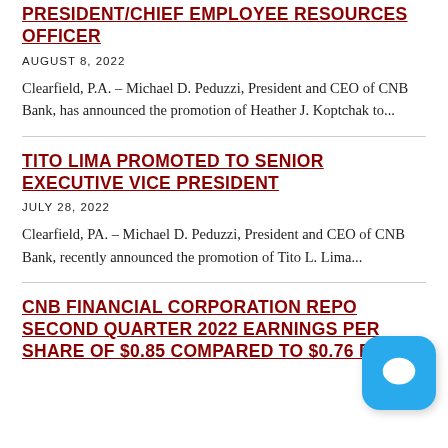President/Chief Employee Resources Officer
AUGUST 8, 2022
Clearfield, P.A. – Michael D. Peduzzi, President and CEO of CNB Bank, has announced the promotion of Heather J. Koptchak to...
TITO LIMA PROMOTED TO SENIOR EXECUTIVE VICE PRESIDENT
JULY 28, 2022
Clearfield, PA. – Michael D. Peduzzi, President and CEO of CNB Bank, recently announced the promotion of Tito L. Lima...
CNB FINANCIAL CORPORATION REPORTS SECOND QUARTER 2022 EARNINGS PER SHARE OF $0.85 COMPARED TO $0.76 FOR